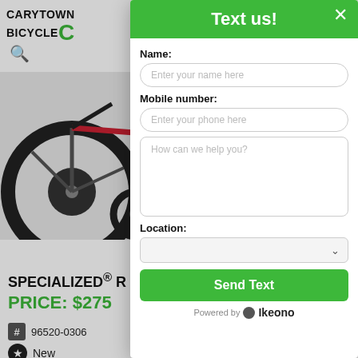[Figure (screenshot): Carytown Bicycle Co website background with bike image, product title SPECIALIZED® R, price PRICE: $275, SKU 96520-0306, condition New, color White Metallic Silver / Flake Pink / Moto, location GreenGate Shopping]
[Figure (screenshot): Text us! modal overlay with green header, close X button, form fields for Name, Mobile number, message textarea, Location dropdown, Send Text button, and Powered by Ikeono footer]
Text us!
Name:
Enter your name here
Mobile number:
Enter your phone here
How can we help you?
Location:
Send Text
Powered by Ikeono
SPECIALIZED® R
PRICE: $275
96520-0306
New
White Metallic Silver / Flake Pink / Moto
GreenGate Shopping